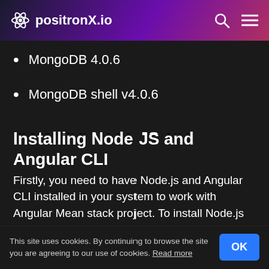positronX.io
MongoDB 4.0.6
MongoDB shell v4.0.6
Installing Node JS and Angular CLI
Firstly, you need to have Node.js and Angular CLI installed in your system to work with Angular Mean stack project. To install Node.js in your system, follow this tutorial How To Install Node JS on Your System?
This site uses cookies. By continuing to browse the site you are agreeing to our use of cookies. Read more